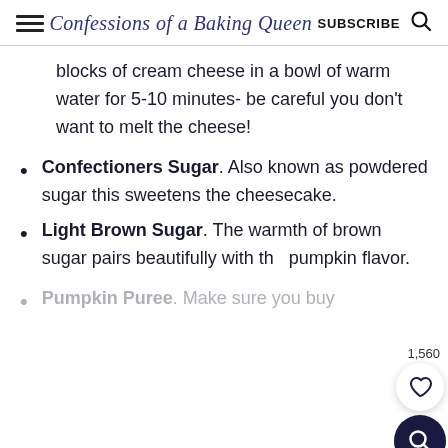Confessions of a Baking Queen  SUBSCRIBE
blocks of cream cheese in a bowl of warm water for 5-10 minutes- be careful you don't want to melt the cheese!
Confectioners Sugar. Also known as powdered sugar this sweetens the cheesecake.
Light Brown Sugar. The warmth of brown sugar pairs beautifully with the pumpkin flavor.
Pumpkin Puree. Make sure you buy